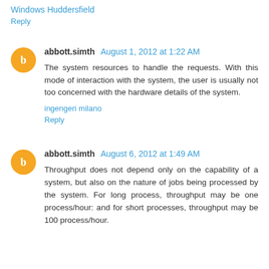Windows Huddersfield
Reply
abbott.simth August 1, 2012 at 1:22 AM
The system resources to handle the requests. With this mode of interaction with the system, the user is usually not too concerned with the hardware details of the system.
ingengeri milano
Reply
abbott.simth August 6, 2012 at 1:49 AM
Throughput does not depend only on the capability of a system, but also on the nature of jobs being processed by the system. For long process, throughput may be one process/hour: and for short processes, throughput may be 100 process/hour.